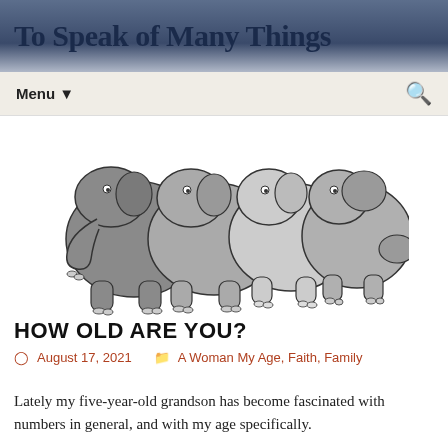To Speak of Many Things
Menu ▼
[Figure (illustration): Four cartoon elephants standing in a row, rendered in shades of gray, facing right, with round bellies and small eyes.]
HOW OLD ARE YOU?
August 17, 2021   A Woman My Age, Faith, Family
Lately my five-year-old grandson has become fascinated with numbers in general, and with my age specifically.